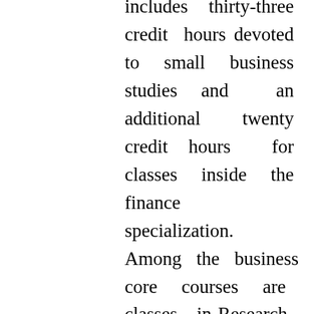includes thirty-three credit hours devoted to small business studies and an additional twenty credit hours for classes inside the finance specialization. Among the business core courses are classes in Research & Statistics for Managers, Accounting for the Contemporary Manager, and Management Information Systems, so the analytic tools and IT requirements for a Masters in Finance are covered within the first section of your system. Advanced finance classes incorporate Public